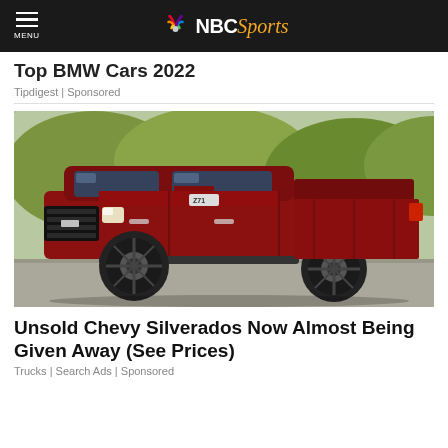NBC Sports
Top BMW Cars 2022
Tipdigest | Sponsored
[Figure (photo): Red Chevrolet Silverado Z71 pickup truck parked on pavement with green foliage in background]
Unsold Chevy Silverados Now Almost Being Given Away (See Prices)
Trucks | Search Ads | Sponsored